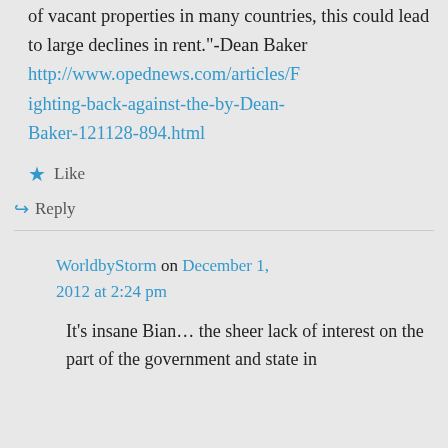of vacant properties in many countries, this could lead to large declines in rent."-Dean Baker http://www.opednews.com/articles/Fighting-back-against-the-by-Dean-Baker-121128-894.html
Like
Reply
WorldbyStorm on December 1, 2012 at 2:24 pm
It's insane Bian… the sheer lack of interest on the part of the government and state in